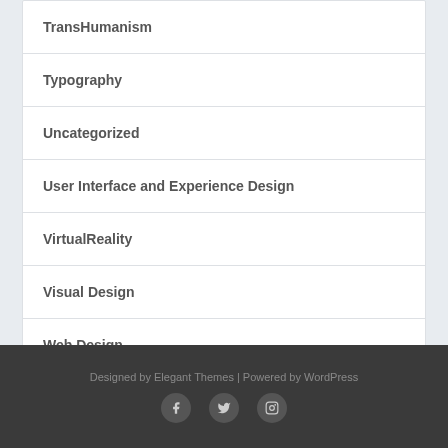TransHumanism
Typography
Uncategorized
User Interface and Experience Design
VirtualReality
Visual Design
Web Design
Designed by Elegant Themes | Powered by WordPress